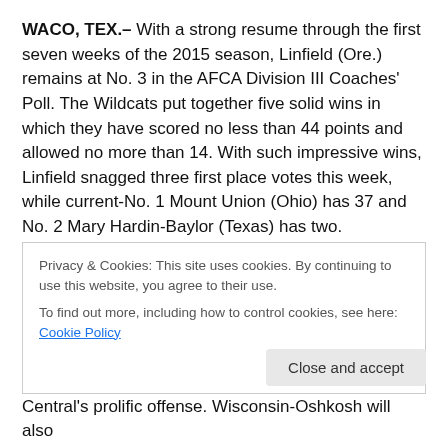WACO, TEX.– With a strong resume through the first seven weeks of the 2015 season, Linfield (Ore.) remains at No. 3 in the AFCA Division III Coaches' Poll. The Wildcats put together five solid wins in which they have scored no less than 44 points and allowed no more than 14. With such impressive wins, Linfield snagged three first place votes this week, while current-No. 1 Mount Union (Ohio) has 37 and No. 2 Mary Hardin-Baylor (Texas) has two.
This week will feature several big match-ups, as Linfield
Privacy & Cookies: This site uses cookies. By continuing to use this website, you agree to their use.
To find out more, including how to control cookies, see here: Cookie Policy
Close and accept
Central's prolific offense. Wisconsin-Oshkosh will also